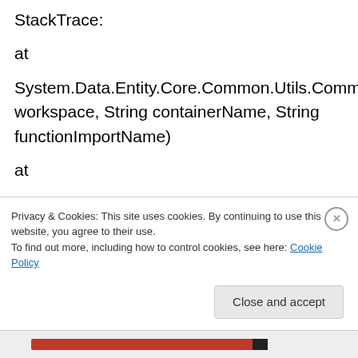StackTrace:
at
System.Data.Entity.Core.Common.Utils.CommandHelper.FindFunctionImport(MetadataWorkspace workspace, String containerName, String functionImportName)
at
System.Data.Entity.Core.Common.Utils.MetadataHelper.GetFunctionImport(String functionName, String defaultContainerName, MetadataWorkspace workspace, String&
Privacy & Cookies: This site uses cookies. By continuing to use this website, you agree to their use.
To find out more, including how to control cookies, see here: Cookie Policy
Close and accept